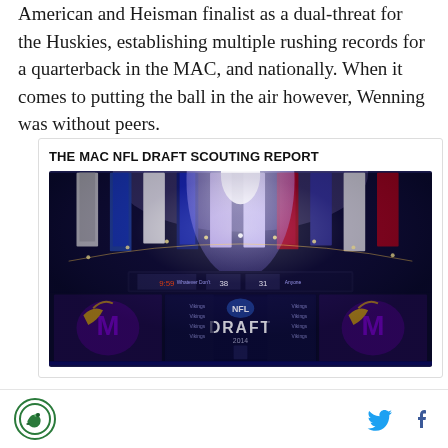American and Heisman finalist as a dual-threat for the Huskies, establishing multiple rushing records for a quarterback in the MAC, and nationally. When it comes to putting the ball in the air however, Wenning was without peers.
[Figure (photo): NFL Draft stage with team banners hanging from the ceiling, colorful lighting, scoreboard, and Minnesota Vikings branding visible on screens at the bottom. The image is enclosed in a card titled 'THE MAC NFL DRAFT SCOUTING REPORT'.]
Site logo icon | Twitter bird icon | Facebook f icon